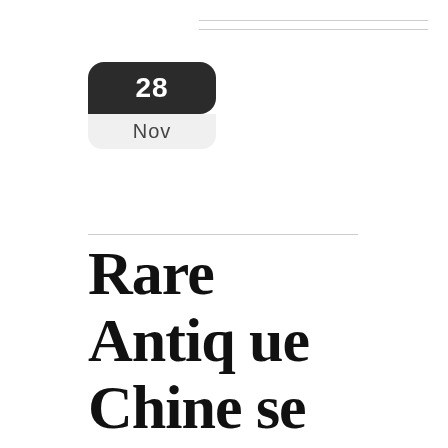[Figure (other): Date badge showing 28 Nov with dark rounded top and light grey rounded bottom]
Rare Antique Chinese Silk Red